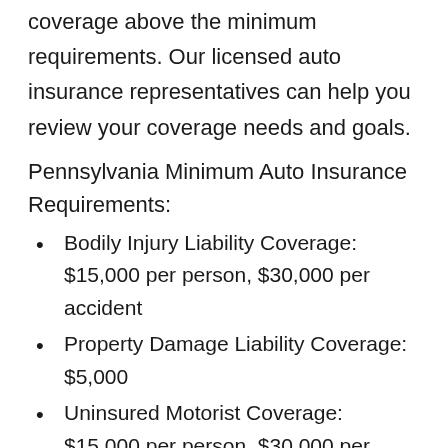coverage above the minimum requirements. Our licensed auto insurance representatives can help you review your coverage needs and goals.
Pennsylvania Minimum Auto Insurance Requirements:
Bodily Injury Liability Coverage: $15,000 per person, $30,000 per accident
Property Damage Liability Coverage: $5,000
Uninsured Motorist Coverage: $15,000 per person, $30,000 per accident*
Underinsured Motorist Coverage: $15,000 per